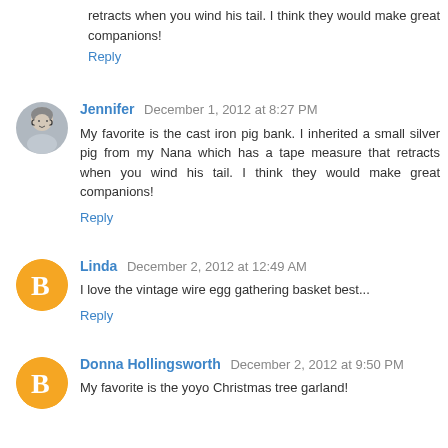retracts when you wind his tail. I think they would make great companions!
Reply
Jennifer December 1, 2012 at 8:27 PM
My favorite is the cast iron pig bank. I inherited a small silver pig from my Nana which has a tape measure that retracts when you wind his tail. I think they would make great companions!
Reply
Linda December 2, 2012 at 12:49 AM
I love the vintage wire egg gathering basket best...
Reply
Donna Hollingsworth December 2, 2012 at 9:50 PM
My favorite is the yoyo Christmas tree garland!